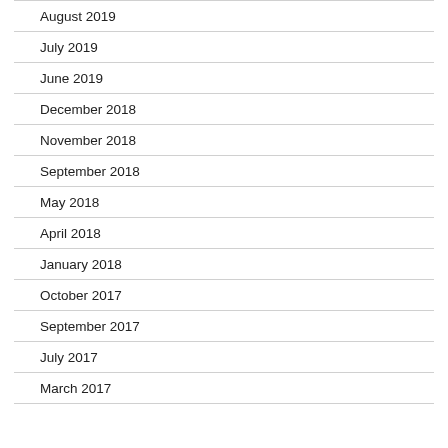August 2019
July 2019
June 2019
December 2018
November 2018
September 2018
May 2018
April 2018
January 2018
October 2017
September 2017
July 2017
March 2017